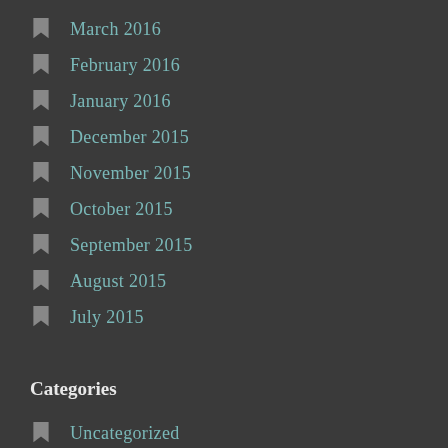March 2016
February 2016
January 2016
December 2015
November 2015
October 2015
September 2015
August 2015
July 2015
Categories
Uncategorized